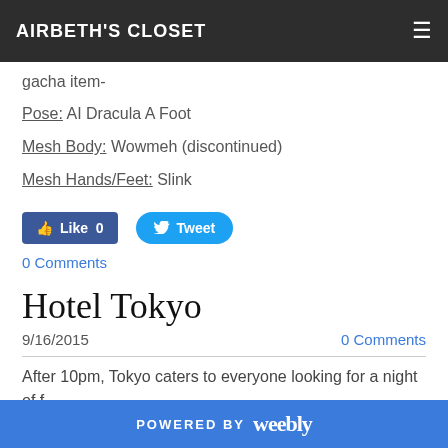AIRBETH'S CLOSET
gacha item-
Pose: AI Dracula A Foot
Mesh Body: Wowmeh (discontinued)
Mesh Hands/Feet: Slink
0 Comments
Hotel Tokyo
9/16/2015   0 Comments
After 10pm, Tokyo caters to everyone looking for a night of f
POWERED BY weebly